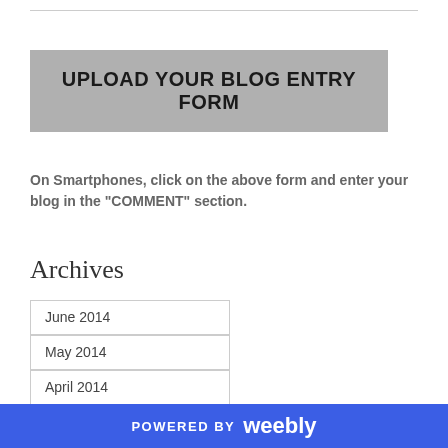UPLOAD YOUR BLOG ENTRY FORM
On Smartphones, click on the above form and enter your blog in the "COMMENT" section.
Archives
June 2014
May 2014
April 2014
March 2014
February 2014
January 2014
POWERED BY weebly